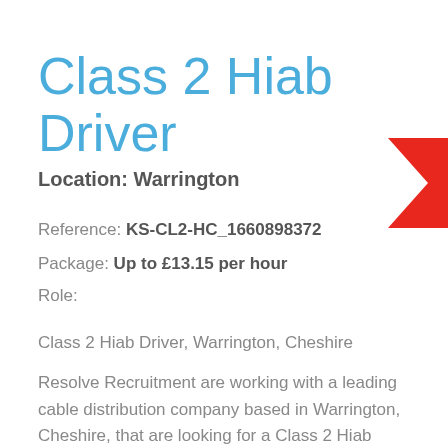Class 2 Hiab Driver
Location: Warrington
Reference: KS-CL2-HC_1660898372
Package: Up to £13.15 per hour
Role:
Class 2 Hiab Driver, Warrington, Cheshire
Resolve Recruitment are working with a leading cable distribution company based in Warrington, Cheshire, that are looking for a Class 2 Hiab Driver
[Figure (illustration): Red right-pointing chevron/arrow shape in upper-right corner]